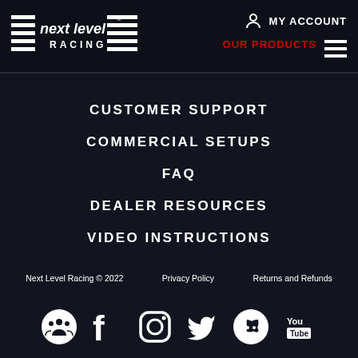[Figure (logo): Next Level Racing logo — white horizontal lines with stacked text reading 'next level RACING']
MY ACCOUNT
OUR PRODUCTS
CUSTOMER SUPPORT
COMMERCIAL SETUPS
FAQ
DEALER RESOURCES
VIDEO INSTRUCTIONS
Next Level Racing © 2022   Privacy Policy   Returns and Refunds
[Figure (infographic): Social media icons row: community/group icon, Facebook, Instagram, Twitter, Discord, YouTube]